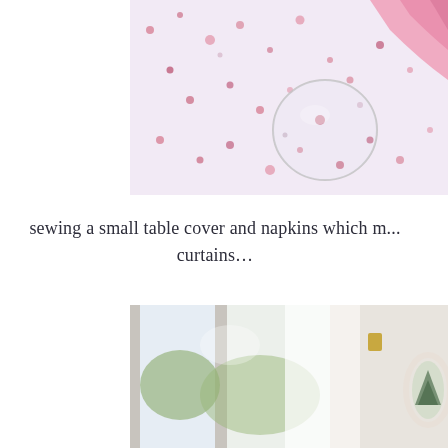[Figure (photo): Close-up photo of a white floral tablecloth with pink flowers, a glass, and a pink fabric napkin in the top right corner.]
sewing a small table cover and napkins which m... curtains…
[Figure (photo): Interior photo showing a window with white curtains, outdoor greenery visible, and a decorative white ornate mirror on the right wall with a Christmas tree reflection.]